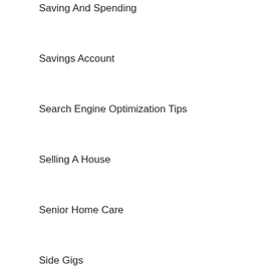Saving And Spending
Savings Account
Search Engine Optimization Tips
Selling A House
Senior Home Care
Side Gigs
Small Business
Starting A Business
Starting A Family
Student Finances
Student Loans
Taxes